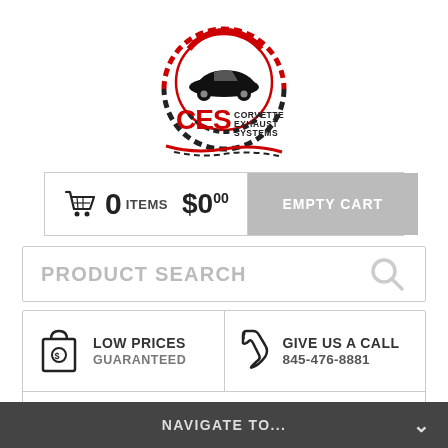[Figure (logo): CES Corvette Exhaust Systems logo with red circular design and car silhouette]
🛒 0   ITEMS   $0.00   EMPTY CART
PRODUCT SEARCH
LOW PRICES GUARANTEED
GIVE US A CALL 845-476-8881
FREE SHIPPING ON ALL ORDERS
NAVIGATE TO...